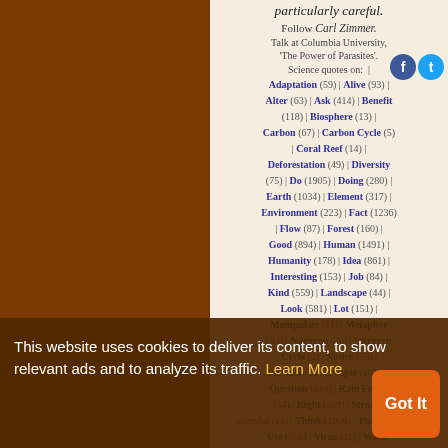particularly careful.
Follow Carl Zimmer.
Talk at Columbia University, 'The Power of Parasites'. Science quotes on:
Adaptation (59) | Alive (93) | Alter (63) | Ask (414) | Benefit (118) | Biosphere (13) | Carbon (67) | Carbon Cycle (5) | Coral Reef (14) | Deforestation (49) | Diversity (75) | Do (1905) | Doing (280) | Earth (1034) | Element (317) | Environment (223) | Fact (1236) | Flow (87) | Forest (160) | Good (894) | Human (1491) | Humanity (178) | Idea (861) | Interesting (153) | Job (84) | Kind (559) | Landscape (44) | Look (581) | Lot (151) | Manipulate (11) | Metaphor (34) | Nitrogen (30) | Nitrogen Cycle (2) | Notice (78) | Parasite (33) | People (1012) | Question (640) | Rain Forest (34) | Right (459) | Strange (13) | Think (1068) | Thinking (425) | Use (768) | Virus (31) | Whole (746) | Worth (170)
This website uses cookies to deliver its content, to show relevant ads and to analyze its traffic. Learn More
Got It